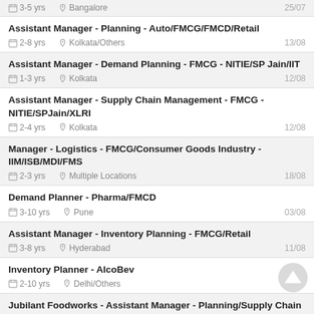3-5 yrs | Bangalore | 25/07
Assistant Manager - Planning - Auto/FMCG/FMCD/Retail | 2-8 yrs | Kolkata/Others | 13/08
Assistant Manager - Demand Planning - FMCG - NITIE/SP Jain/IIT | 1-3 yrs | Kolkata | 12/08
Assistant Manager - Supply Chain Management - FMCG - NITIE/SPJain/XLRI | 2-4 yrs | Kolkata | 12/08
Manager - Logistics - FMCG/Consumer Goods Industry - IIM/ISB/MDI/FMS | 2-3 yrs | Multiple Locations | 18/08
Demand Planner - Pharma/FMCD | 3-10 yrs | Pune | 03/08
Assistant Manager - Inventory Planning - FMCG/Retail | 3-8 yrs | Hyderabad | 11/08
Inventory Planner - AlcoBev | 2-10 yrs | Delhi/Others
Jubilant Foodworks - Assistant Manager - Planning/Supply Chain